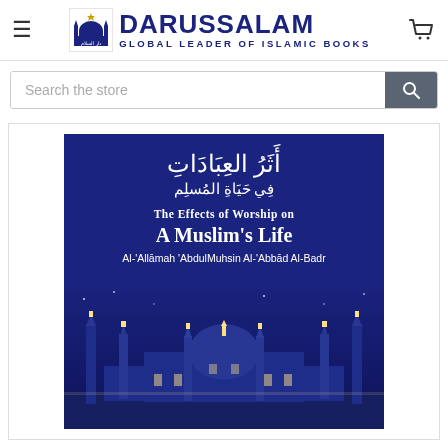DARUSSALAM - GLOBAL LEADER OF ISLAMIC BOOKS
Search the store
[Figure (photo): Book cover of 'The Effects of Worship on A Muslim's Life' by Al-'Allamah 'AbdulMuhsin Al-'Abbad Al-Badr, published by Darussalam. Dark blue cover with Arabic calligraphy at top, English title in white text, and a photographic image of a mosque (likely Al-Masjid al-Nabawi) illuminated at night at the bottom.]